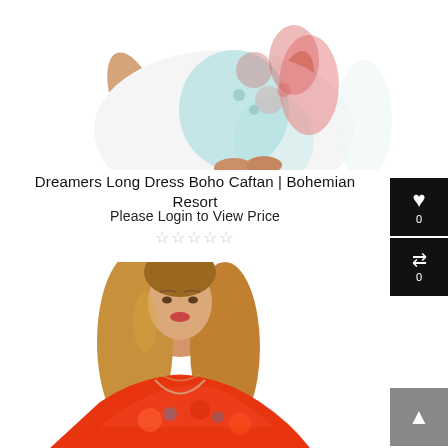[Figure (photo): Top portion of a model wearing a Dreamers Long Dress Boho Caftan with white, red, and teal floral/paisley pattern, showing the lower body and dress hem.]
Dreamers Long Dress Boho Caftan | Bohemian Resort
Please Login to View Price
☆☆☆☆☆
[Figure (photo): Model wearing an orange/red floral resort dress, shown from the waist up, with long blonde hair and a V-neckline.]